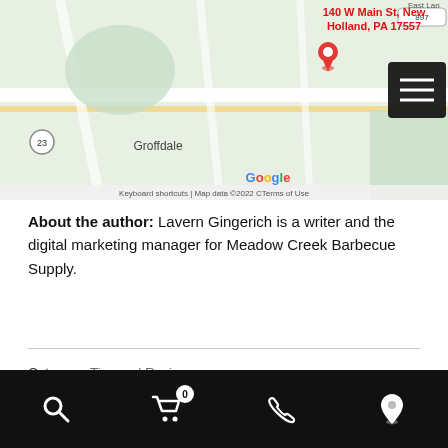[Figure (map): Google Maps screenshot showing 140 W Main St, New Holland, PA 17557 with a red location pin, surrounding area including Groffdale, route 23, and Google branding with 'Keyboard shortcuts | Map data ©2022 Terms of Use']
About the author: Lavern Gingerich is a writer and the digital marketing manager for Meadow Creek Barbecue Supply.
Category: Tips and Recipes
Tags: big green egg, Christmas Recipe, dessert, holiday recipe, thanksgiving recipes